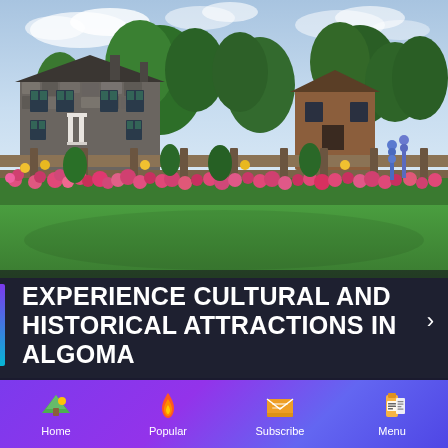[Figure (photo): Outdoor photo of a historic stone building with dark shutters and white columns, surrounded by lush green gardens with colorful pink and yellow flowers in bloom, wooden split-rail fence, and blue sky with clouds]
EXPERIENCE CULTURAL AND HISTORICAL ATTRACTIONS IN ALGOMA
Home | Popular | Subscribe | Menu